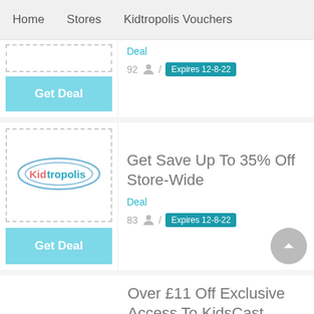Home   Stores   Kidtropolis Vouchers
Deal
92 / Expires 12-8-22
Get Deal
[Figure (logo): Kidtropolis logo — oval shape with 'Kid' in coral/salmon and 'tropolis' in teal, surrounded by a blue oval border]
Get Save Up To 35% Off Store-Wide
Deal
83 / Expires 12-8-22
Get Deal
Over £11 Off Exclusive Access To KidsCast